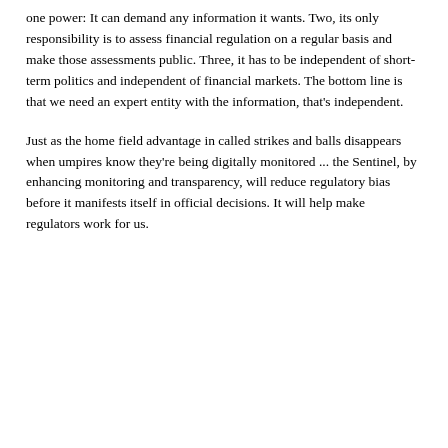one power: It can demand any information it wants. Two, its only responsibility is to assess financial regulation on a regular basis and make those assessments public. Three, it has to be independent of short-term politics and independent of financial markets. The bottom line is that we need an expert entity with the information, that's independent.
Just as the home field advantage in called strikes and balls disappears when umpires know they're being digitally monitored ... the Sentinel, by enhancing monitoring and transparency, will reduce regulatory bias before it manifests itself in official decisions. It will help make regulators work for us.